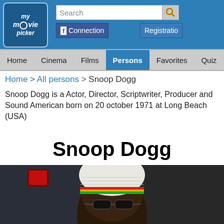my movie picker — Search, Connection, Registration
Home   Cinema   Films   Persons   Favorites   Quiz
Home > All persons > Snoop Dogg
Snoop Dogg is a Actor, Director, Scriptwriter, Producer and Sound American born on 20 october 1971 at Long Beach (USA)
Snoop Dogg
[Figure (photo): Photo of Snoop Dogg wearing a white knit Rastafarian-style hat with red/yellow/green stripe and dark sunglasses, dark background]